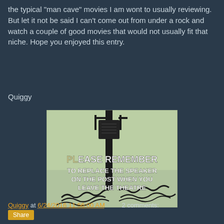the typical "man cave" movies I am wont to usually reviewing.  But let it not be said I can't come out from under a rock and watch a couple of good movies that would not usually fit that niche.  Hope you enjoyed this entry.
Quiggy
[Figure (photo): Vintage drive-in movie theater image with text overlay reading: PLEASE REMEMBER TO REPLACE THE SPEAKER ON THE POST WHEN YOU LEAVE THE THEATRE. Shows a drive-in speaker on a post with a coiled cord.]
Quiggy at 6/24/2016 11:56:00 AM    2 comments: